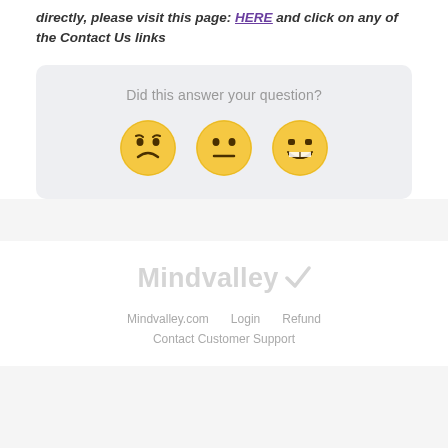directly, please visit this page: HERE and click on any of the Contact Us links
[Figure (other): Feedback widget with question 'Did this answer your question?' and three emoji faces: sad, neutral, and happy]
[Figure (logo): Mindvalley logo with checkmark symbol in light gray]
Mindvalley.com   Login   Refund
Contact Customer Support